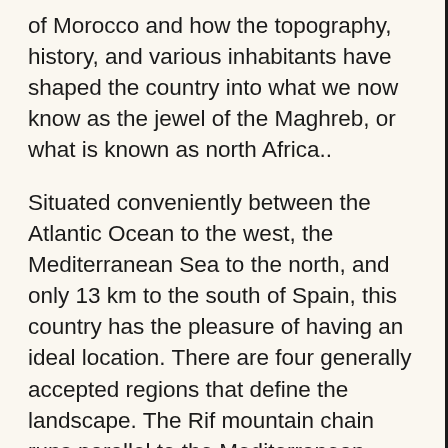of Morocco and how the topography, history, and various inhabitants have shaped the country into what we now know as the jewel of the Maghreb, or what is known as north Africa..
Situated conveniently between the Atlantic Ocean to the west, the Mediterranean Sea to the north, and only 13 km to the south of Spain, this country has the pleasure of having an ideal location. There are four generally accepted regions that define the landscape. The Rif mountain chain runs parallel to the Mediterranean. The Atlas Mountains, which are compromised of three mountain chains and reach across the center of the country. The Meseta is the third region, a series of high plateaus, that lie within the Ðamphitheater, naturally created by the Atlas mountains. The